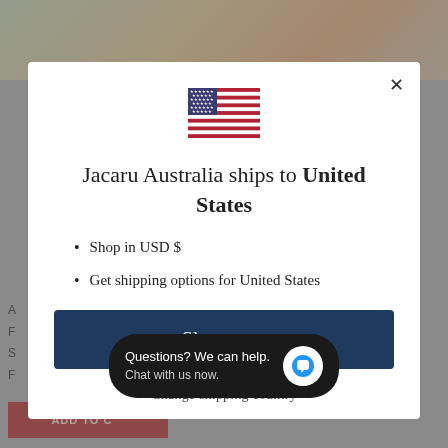[Figure (screenshot): Background page showing a product page with colorful lanterns at the top and add-to-cart button at the bottom, partially obscured by modal overlay]
[Figure (illustration): Modal dialog box with US flag emoji, shipping information, and Shop now button]
Jacaru Australia ships to United States
Shop in USD $
Get shipping options for United States
Shop now
Change shipping country
Questions? We can help. Chat with us now.